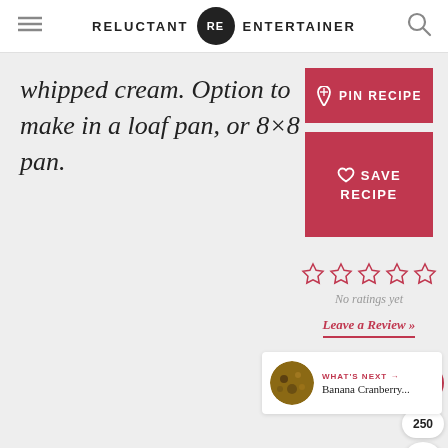RELUCTANT RE ENTERTAINER
whipped cream. Option to make in a loaf pan, or 8×8 pan.
PIN RECIPE
SAVE RECIPE
No ratings yet
Leave a Review »
250
WHAT'S NEXT → Banana Cranberry...